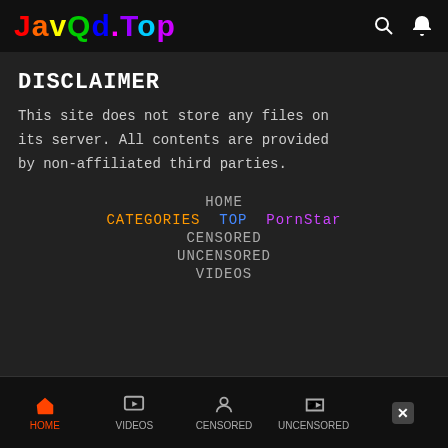JavQd.Top
DISCLAIMER
This site does not store any files on its server. All contents are provided by non-affiliated third parties.
HOME
CATEGORIES TOP PornStar
CENSORED
UNCENSORED
VIDEOS
2017 | JAVQD.TOP ©
HOME VIDEOS CENSORED UNCENSORED